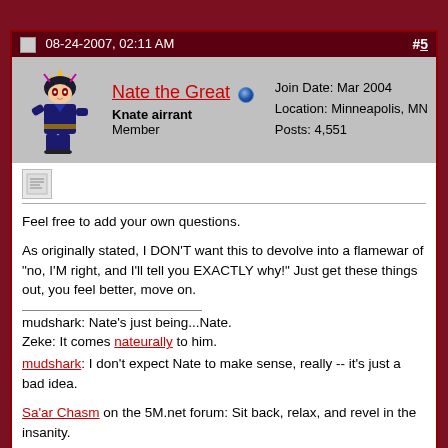08-24-2007, 02:11 AM  #5
Nate the Great  Knate airrant  Member  Join Date: Mar 2004  Location: Minneapolis, MN  Posts: 4,551
Feel free to add your own questions.

As originally stated, I DON'T want this to devolve into a flamewar of "no, I'M right, and I'll tell you EXACTLY why!" Just get these things out, you feel better, move on.

mudshark: Nate's just being...Nate.
Zeke: It comes nateurally to him.

mudshark: I don't expect Nate to make sense, really -- it's just a bad idea.

Sa'ar Chasm on the 5M.net forum: Sit back, relax, and revel in the insanity.

Adam Savage: I reject your reality and substitute my own!